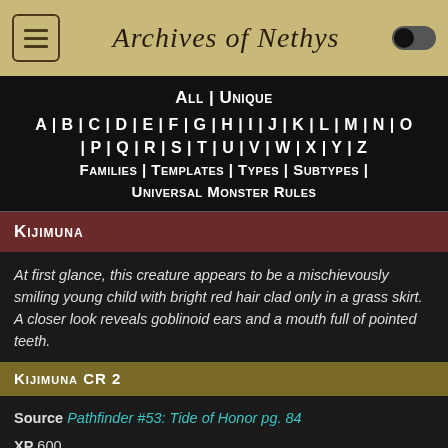Archives of Nethys
All | Unique A | B | C | D | E | F | G | H | I | J | K | L | M | N | O | P | Q | R | S | T | U | V | W | X | Y | Z | Families | Templates | Types | Subtypes | Universal Monster Rules
Kijimuna
At first glance, this creature appears to be a mischievously smiling young child with bright red hair clad only in a grass skirt. A closer look reveals goblinoid ears and a mouth full of pointed teeth.
Kijimuna CR 2
Source Pathfinder #53: Tide of Honor pg. 84
XP 600
CN Small humanoid (goblinoid)